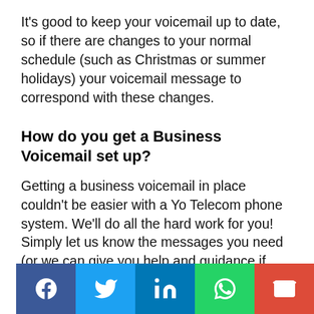It's good to keep your voicemail up to date, so if there are changes to your normal schedule (such as Christmas or summer holidays) your voicemail message to correspond with these changes.
How do you get a Business Voicemail set up?
Getting a business voicemail in place couldn't be easier with a Yo Telecom phone system. We'll do all the hard work for you! Simply let us know the messages you need (or we can give you help and guidance if you're lost for words) and we'll get them professionally recorded and uploaded to your system. We have a range of famous voice actors and background music for you to choose from! It's up to you and what you feel best suits the needs of your business.
[Figure (other): Social share buttons bar: Facebook, Twitter, LinkedIn, WhatsApp, Email]